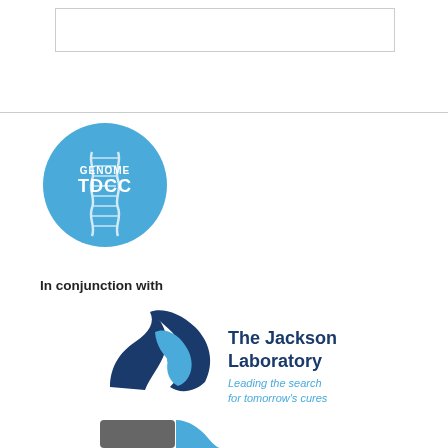[Figure (other): Empty bordered white rectangle at top of page]
[Figure (logo): Genome TDCC circular logo — blue circle with DNA helix graphic, text 'GENOME' and 'TDCC' in white]
In conjunction with
[Figure (logo): The Jackson Laboratory logo — stylized blue/dark blue swoosh/mouse shape with text 'The Jackson Laboratory' in dark navy bold and tagline 'Leading the search for tomorrow's cures' in blue italic]
[Figure (logo): Partial logo at bottom, gray and teal colored, partially cut off]